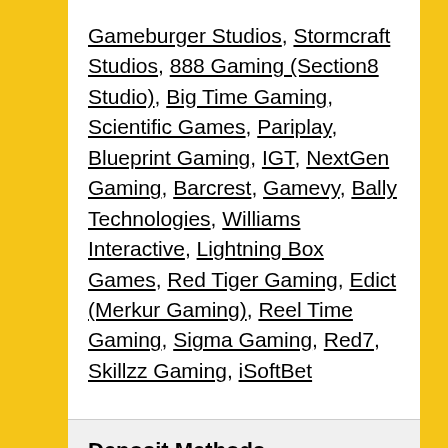Gameburger Studios, Stormcraft Studios, 888 Gaming (Section8 Studio), Big Time Gaming, Scientific Games, Pariplay, Blueprint Gaming, IGT, NextGen Gaming, Barcrest, Gamevy, Bally Technologies, Williams Interactive, Lightning Box Games, Red Tiger Gaming, Edict (Merkur Gaming), Reel Time Gaming, Sigma Gaming, Red7, Skillzz Gaming, iSoftBet
Deposit Methods
Visa Credit (Not Available In The UK), Mastercard, Visa Delta, Visa Electron,